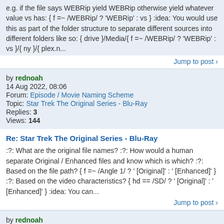e.g. if the file says WEBRip yield WEBRip otherwise yield whatever value vs has: { f =~ /WEBRip/ ? 'WEBRip' : vs } :idea: You would use this as part of the folder structure to separate different sources into different folders like so: { drive }/Media/{ f =~ /WEBRip/ ? 'WEBRip' : vs }/{ ny }/{ plex.n...
Jump to post >
by rednoah
14 Aug 2022, 08:06
Forum: Episode / Movie Naming Scheme
Topic: Star Trek The Original Series - Blu-Ray
Replies: 3
Views: 144
Re: Star Trek The Original Series - Blu-Ray
:?: What are the original file names? :?: How would a human separate Original / Enhanced files and know which is which? :?: Based on the file path? { f =~ /Angle 1/ ? ' [Original]' : ' [Enhanced]' } :?: Based on the video characteristics? { hd == /SD/ ? ' [Original]' : ' [Enhanced]' } :idea: You can...
Jump to post >
by rednoah
12 Aug 2022, 15:23
Forum: Feature Requests and Bug Reports
Topic: Subtitle Search Not Working